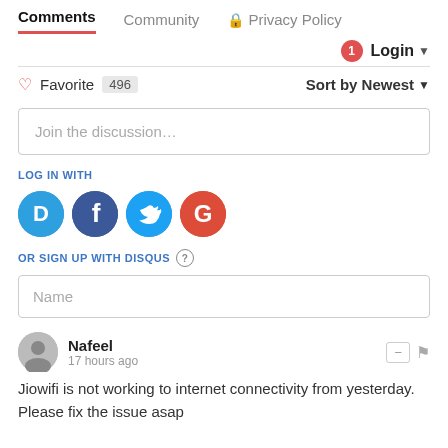Comments   Community   Privacy Policy
Login ▾
♡ Favorite 496   Sort by Newest ▾
Join the discussion…
LOG IN WITH
[Figure (infographic): Four social login buttons: Disqus (blue speech bubble with D), Facebook (blue circle with f), Twitter (blue circle with bird), Google (red circle with G)]
OR SIGN UP WITH DISQUS ?
Name
Nafeel
17 hours ago
Jiowifi is not working to internet connectivity from yesterday. Please fix the issue asap